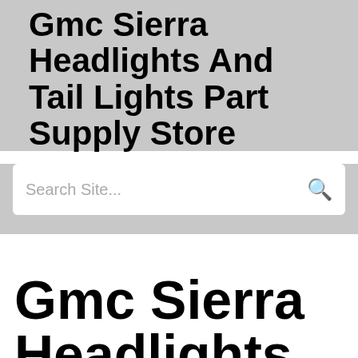Gmc Sierra Headlights And Tail Lights Part Supply Store
[Figure (other): Search bar with placeholder text 'Search Site...' and a search icon]
Gmc Sierra Headlights